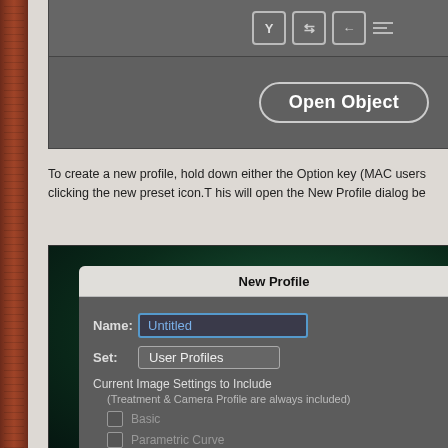[Figure (screenshot): Screenshot of a photo editing software toolbar with icons (Y-shape, arrows) and an 'Open Object' button on a dark gray background]
To create a new profile, hold down either the Option key (MAC users) or clicking the new preset icon.T his will open the New Profile dialog be...
[Figure (screenshot): Screenshot of 'New Profile' dialog box with Name field showing 'Untitled', Set field showing 'User Profiles', Current Image Settings to Include section with checkboxes: Basic (unchecked), Parametric Curve (unchecked), Point Curve (checked)]